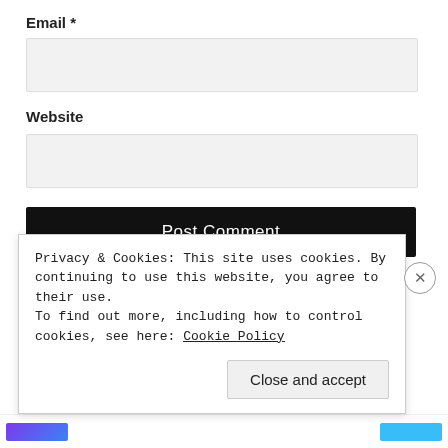Email *
[Figure (other): Empty email input field with light gray background]
Website
[Figure (other): Empty website input field with light gray background]
Post Comment
Notify me of new comments via email.
Notify me of new posts via email
Privacy & Cookies: This site uses cookies. By continuing to use this website, you agree to their use.
To find out more, including how to control cookies, see here: Cookie Policy
Close and accept